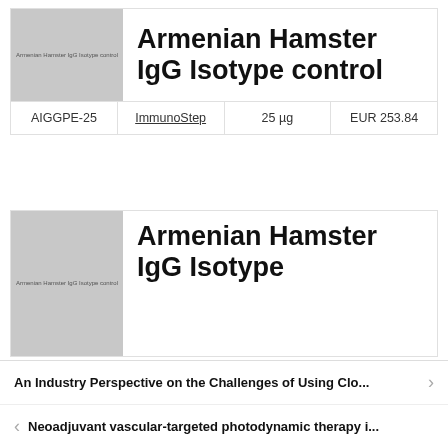[Figure (photo): Thumbnail image placeholder for Armenian Hamster IgG Isotype control product, grey box with small text label]
Armenian Hamster IgG Isotype control
| AIGGPE-25 | ImmunoStep | 25 µg | EUR 253.84 |
| --- | --- | --- | --- |
[Figure (photo): Thumbnail image placeholder for second Armenian Hamster IgG Isotype control product listing, grey box with small text label]
Armenian Hamster IgG Isotype...
An Industry Perspective on the Challenges of Using Clo...
Neoadjuvant vascular-targeted photodynamic therapy i...